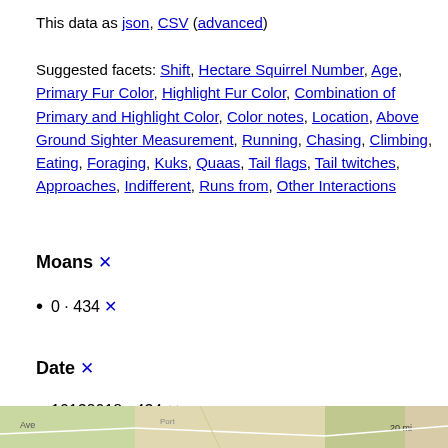This data as json, CSV (advanced)
Suggested facets: Shift, Hectare Squirrel Number, Age, Primary Fur Color, Highlight Fur Color, Combination of Primary and Highlight Color, Color notes, Location, Above Ground Sighter Measurement, Running, Chasing, Climbing, Eating, Foraging, Kuks, Quaas, Tail flags, Tail twitches, Approaches, Indifferent, Runs from, Other Interactions
Moans ✕
0 · 434 ✕
Date ✕
10132018 · 434 ✕
[Figure (map): Partial map strip visible at the bottom of the page]